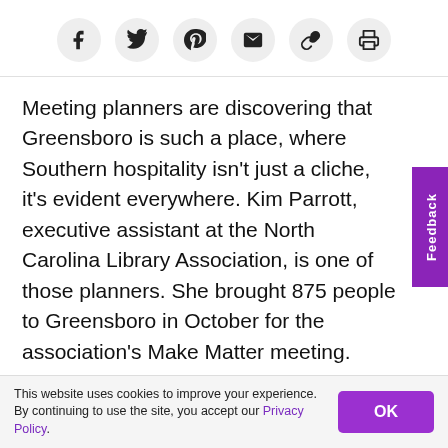[Social share icons: Facebook, Twitter, Pinterest, Email, Link, Print]
Meeting planners are discovering that Greensboro is such a place, where Southern hospitality isn't just a cliche, it's evident everywhere. Kim Parrott, executive assistant at the North Carolina Library Association, is one of those planners. She brought 875 people to Greensboro in October for the association's Make Matter meeting.
“They absolutely loved the city,” Parrott says. “We met at the Sheraton Greensboro at Four Seasons, and it was great having the convention center and the hotel under one roof. There’s plenty to do…
This website uses cookies to improve your experience. By continuing to use the site, you accept our Privacy Policy.